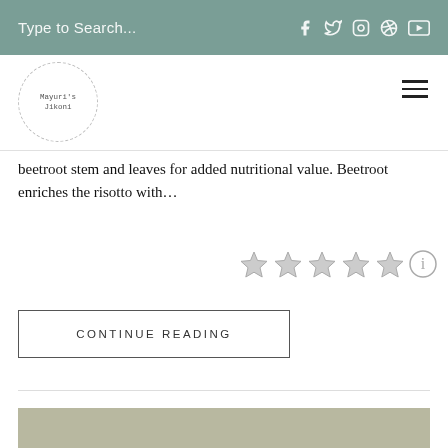Type to Search...
[Figure (logo): Mayuri's Jikoni circular logo with dashed border]
beetroot stem and leaves for added nutritional value. Beetroot enriches the risotto with…
[Figure (other): Five empty star rating icons with info button]
CONTINUE READING
[Figure (photo): kung pao cauliflower dish photo with text overlay]